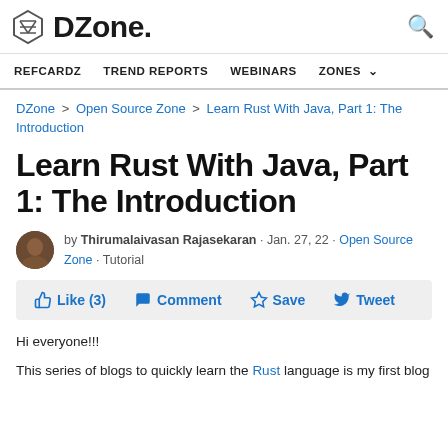DZone.
REFCARDZ   TREND REPORTS   WEBINARS   ZONES
DZone > Open Source Zone > Learn Rust With Java, Part 1: The Introduction
Learn Rust With Java, Part 1: The Introduction
by Thirumalaivasan Rajasekaran · Jan. 27, 22 · Open Source Zone · Tutorial
Like (3)   Comment   Save   Tweet
Hi everyone!!!
This series of blogs to quickly learn the Rust language is my first blog